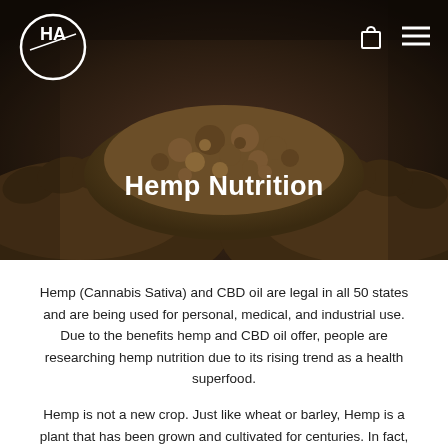[Figure (photo): Hands holding dark soil/dirt, dark moody background, hero banner image]
Hemp Nutrition
Hemp (Cannabis Sativa) and CBD oil are legal in all 50 states and are being used for personal, medical, and industrial use. Due to the benefits hemp and CBD oil offer, people are researching hemp nutrition due to its rising trend as a health superfood.
Hemp is not a new crop. Just like wheat or barley, Hemp is a plant that has been grown and cultivated for centuries. In fact,